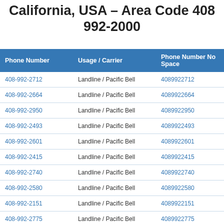California, USA – Area Code 408 992-2000
| Phone Number | Usage / Carrier | Phone Number No Space |  |
| --- | --- | --- | --- |
| 408-992-2712 | Landline / Pacific Bell | 4089922712 | View Results |
| 408-992-2664 | Landline / Pacific Bell | 4089922664 | View Results |
| 408-992-2950 | Landline / Pacific Bell | 4089922950 | View Results |
| 408-992-2493 | Landline / Pacific Bell | 4089922493 | View Results |
| 408-992-2601 | Landline / Pacific Bell | 4089922601 | View Results |
| 408-992-2415 | Landline / Pacific Bell | 4089922415 | View Results |
| 408-992-2740 | Landline / Pacific Bell | 4089922740 | View Results |
| 408-992-2580 | Landline / Pacific Bell | 4089922580 | View Results |
| 408-992-2151 | Landline / Pacific Bell | 4089922151 | View Results |
| 408-992-2775 | Landline / Pacific Bell | 4089922775 | View Results |
| 408-992-2541 | Landline / Pacific Bell | 4089922541 | View Results |
| 408-992-2470 | Landline / Pacific Bell | 4089922470 | View Results |
| 408-992-2940 | Landline / Pacific Bell | 4089922940 | View Results |